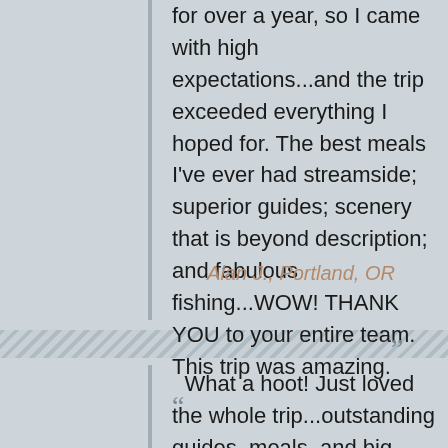for over a year, so I came with high expectations...and the trip exceeded everything I hoped for. The best meals I've ever had streamside; superior guides; scenery that is beyond description; and fabulous fishing...WOW! THANK YOU to your entire team. This trip was amazing.”
Alan J., Portland, OR
“What a hoot! Just loved the whole trip...outstanding guides, meals, and big browns. The drift in the Smith...